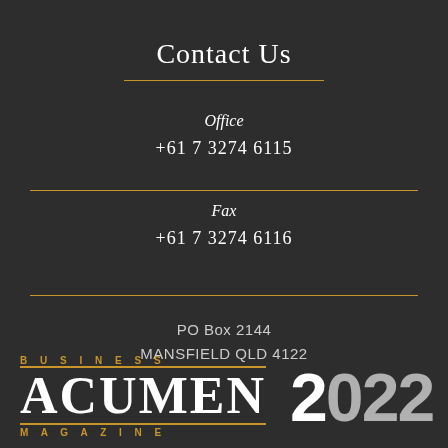Contact Us
Office
+61 7 3274 6115
Fax
+61 7 3274 6116
PO Box 2144
MANSFIELD QLD 4122
[Figure (logo): Business Acumen Magazine logo with '2022' year text in large bold font]